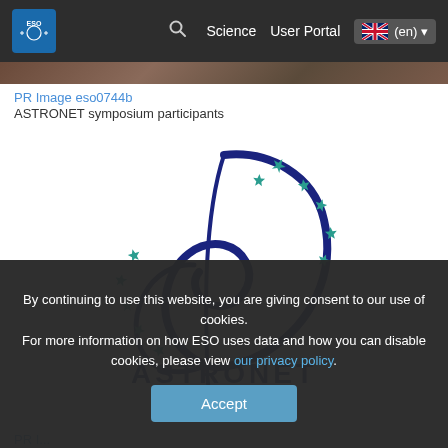[Figure (screenshot): ESO website navigation bar with logo, search icon, Science and User Portal links, and language selector (en)]
[Figure (photo): Partial photo strip showing ASTRONET symposium participants (cropped, only bottom edge visible)]
PR Image eso0744b
ASTRONET symposium participants
[Figure (logo): ASTRONET logo: a stylized dark blue calligraphic swirl with teal star/arrow shapes arranged in a circle around it, text 'ASTRONET' and 'www.astronet-eu.org' below]
PR I...
By continuing to use this website, you are giving consent to our use of cookies.
For more information on how ESO uses data and how you can disable cookies, please view our privacy policy.
Accept